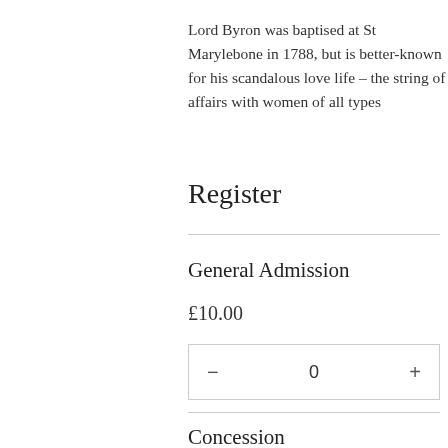Lord Byron was baptised at St Marylebone in 1788, but is better-known for his scandalous love life – the string of affairs with women of all types
Register
General Admission
£10.00
[Figure (other): Quantity counter widget with minus button, value 0, and plus button inside a bordered box]
Concession